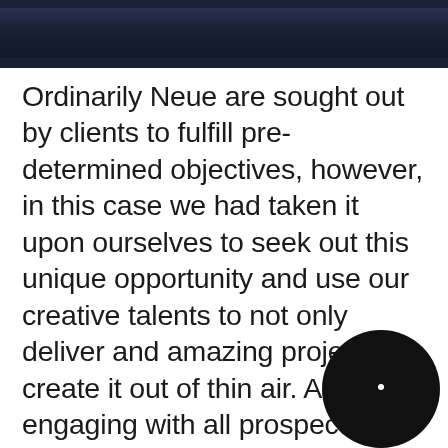[Figure (photo): Dark navy/dark blue image strip at the top of the page, appears to be an architectural or interior photo mostly cropped]
Ordinarily Neue are sought out by clients to fulfill pre-determined objectives, however, in this case we had taken it upon ourselves to seek out this unique opportunity and use our creative talents to not only deliver and amazing project but create it out of thin air. After engaging with all prospective parties including Brisbane City Council, the building owner, the building architect James Davidson, and building tenants, Neue was able to outline a project that would not only highlight the buildings existing